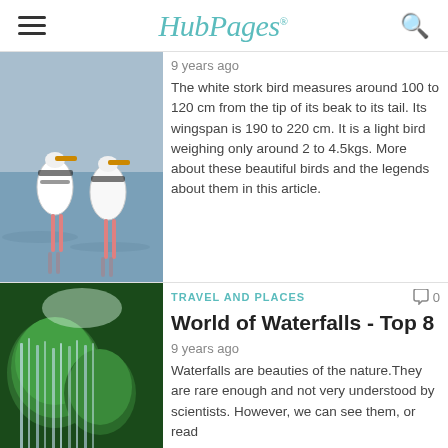HubPages
[Figure (photo): Two white stork birds standing in water]
9 years ago
The white stork bird measures around 100 to 120 cm from the tip of its beak to its tail. Its wingspan is 190 to 220 cm. It is a light bird weighing only around 2 to 4.5kgs. More about these beautiful birds and the legends about them in this article.
TRAVEL AND PLACES
World of Waterfalls - Top 8
9 years ago
[Figure (photo): Green moss-covered waterfall scene with yellow flowers]
Waterfalls are beauties of the nature.They are rare enough and not very understood by scientists. However, we can see them, or read about them whenever an opportunity occurs. A site has made